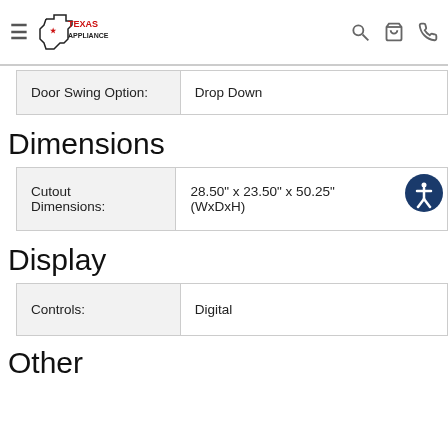Texas Appliance — navigation header
| Door Swing Option: | Drop Down |
| --- | --- |
Dimensions
| Cutout Dimensions: | 28.50" x 23.50" x 50.25" (WxDxH) |
| --- | --- |
Display
| Controls: | Digital |
| --- | --- |
Other